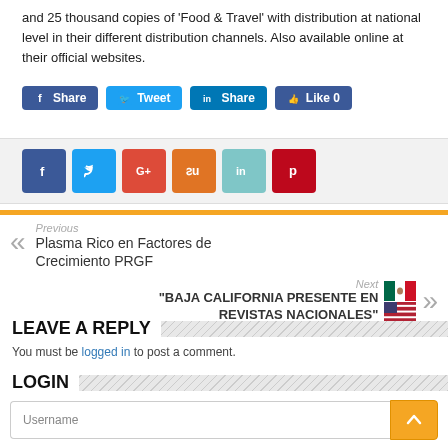and 25 thousand copies of 'Food & Travel' with distribution at national level in their different distribution channels. Also available online at their official websites.
[Figure (infographic): Social media sharing buttons: Facebook Share, Twitter Tweet, LinkedIn Share, Facebook Like 0]
[Figure (infographic): Social icon buttons row: Facebook (blue), Twitter (light blue), Google+ (red), StumbleUpon (orange), LinkedIn (teal), Pinterest (red)]
Previous
Plasma Rico en Factores de Crecimiento PRGF
Next
"BAJA CALIFORNIA PRESENTE EN REVISTAS NACIONALES"
LEAVE A REPLY
You must be logged in to post a comment.
LOGIN
Username